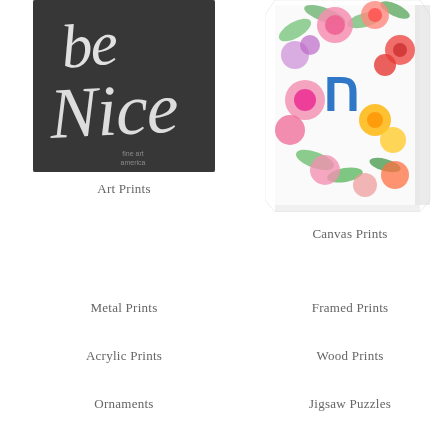[Figure (illustration): Chalkboard art print with white chalky script text reading 'be Nice' on dark grey/black background, with small watermark text 'fine art america' in lower right corner]
Art Prints
[Figure (photo): Canvas print showing colorful watercolor floral painting with Hebrew letter Chai (ח) in blue, surrounded by bright pink, red, orange, yellow, purple flowers and green leaves on white background, displayed as a wrapped canvas at an angle]
Canvas Prints
Metal Prints
Framed Prints
Acrylic Prints
Wood Prints
Ornaments
Jigsaw Puzzles